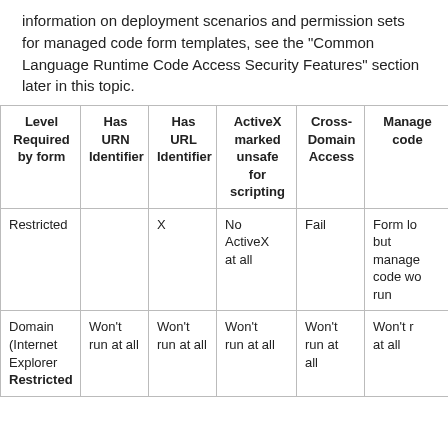information on deployment scenarios and permission sets for managed code form templates, see the "Common Language Runtime Code Access Security Features" section later in this topic.
| Level Required by form | Has URN Identifier | Has URL Identifier | ActiveX marked unsafe for scripting | Cross-Domain Access | Managed code |
| --- | --- | --- | --- | --- | --- |
| Restricted |  | X | No ActiveX at all | Fail | Form lo but manage code wo run |
| Domain (Internet Explorer Restricted | Won't run at all | Won't run at all | Won't run at all | Won't run at all | Won't r at all |